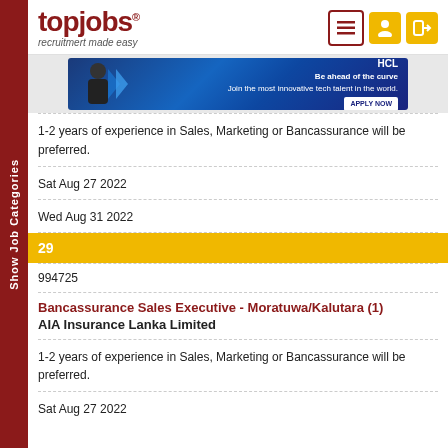[Figure (logo): topjobs logo with tagline 'recruitmert made easy']
[Figure (screenshot): HCL advertisement banner: Be ahead of the curve, join the most innovative tech talent in the world. APPLY NOW button.]
1-2 years of experience in Sales, Marketing or Bancassurance will be preferred.
Sat Aug 27 2022
Wed Aug 31 2022
29
994725
Bancassurance Sales Executive - Moratuwa/Kalutara (1)
AIA Insurance Lanka Limited
1-2 years of experience in Sales, Marketing or Bancassurance will be preferred.
Sat Aug 27 2022